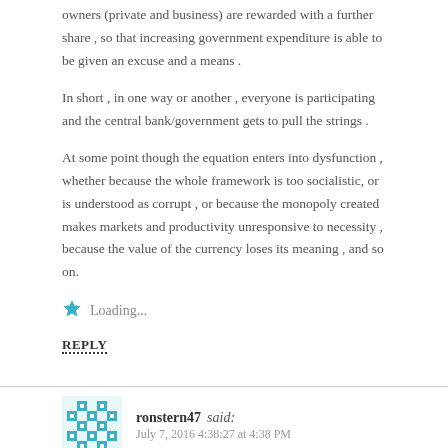owners (private and business) are rewarded with a further share , so that increasing government expenditure is able to be given an excuse and a means .
In short , in one way or another , everyone is participating and the central bank/government gets to pull the strings .
At some point though the equation enters into dysfunction , whether because the whole framework is too socialistic, or is understood as corrupt , or because the monopoly created makes markets and productivity unresponsive to necessity , because the value of the currency loses its meaning , and so on.
Loading...
REPLY
ronstern47 said: July 7, 2016 4:38:27 at 4:38 PM